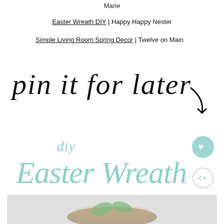Marie
Easter Wreath DIY | Happy Happy Nester
Simple Living Room Spring Decor | Twelve on Main
[Figure (illustration): Handwritten script text reading 'pin it for later' with a curved arrow pointing down-right]
[Figure (illustration): Stylized text logo reading 'diy Easter Wreath' in light teal/mint color with a heart icon and share icon]
[Figure (photo): Photo of an Easter wreath made of twigs with white flowers and green leaves on a light background, with a 'WHAT'S NEXT' overlay showing Easter Napkin Rings]